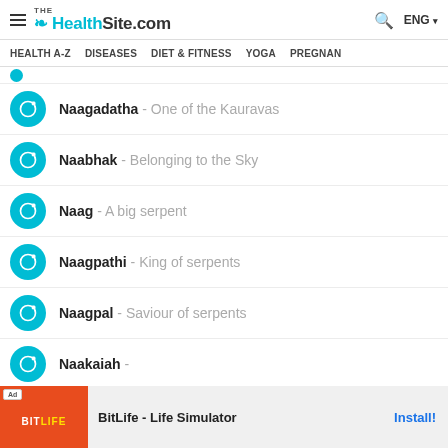TheHealthSite.com | HEALTH A-Z | DISEASES | DIET & FITNESS | YOGA | PREGNAN
Naagadatha - One of the Kauravas
Naabhak - Belonging to the Sky
Naag - A big serpent
Naagpathi - King of serpents
Naagpal - Saviour of serpents
Naakaiah -
[Figure (infographic): Advertisement banner for BitLife - Life Simulator with Install button]